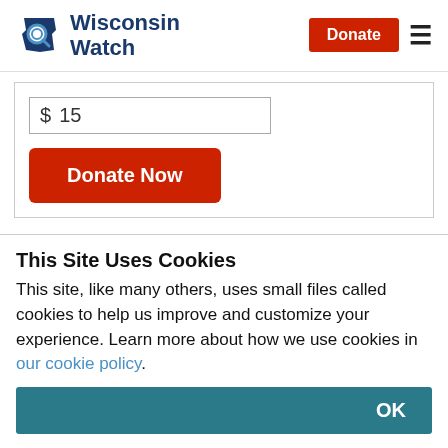Wisconsin Watch | Donate
$ 15
Donate Now
People with compromised immune systems face potential threat from
This Site Uses Cookies
This site, like many others, uses small files called cookies to help us improve and customize your experience. Learn more about how we use cookies in our cookie policy.
OK